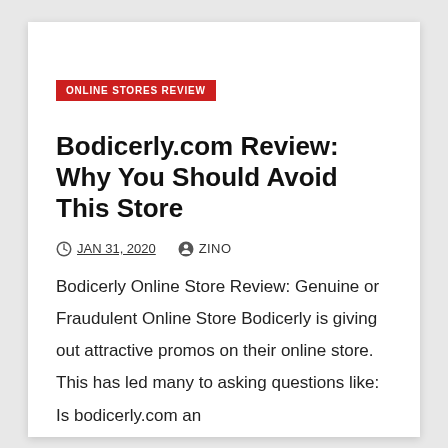ONLINE STORES REVIEW
Bodicerly.com Review: Why You Should Avoid This Store
JAN 31, 2020   ZINO
Bodicerly Online Store Review: Genuine or Fraudulent Online Store Bodicerly is giving out attractive promos on their online store. This has led many to asking questions like: Is bodicerly.com an